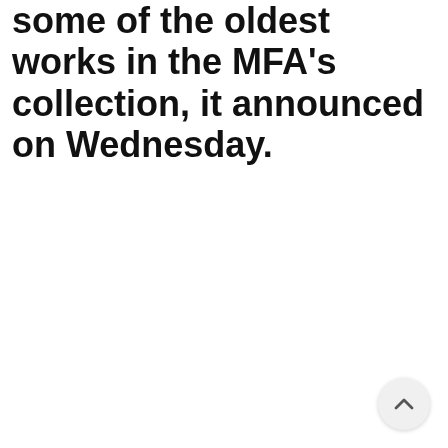some of the oldest works in the MFA's collection, it announced on Wednesday.